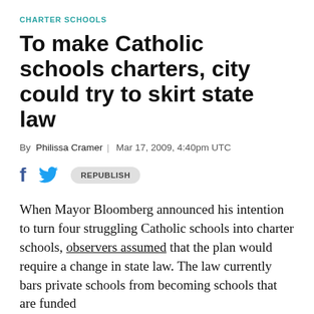CHARTER SCHOOLS
To make Catholic schools charters, city could try to skirt state law
By Philissa Cramer | Mar 17, 2009, 4:40pm UTC
[Figure (other): Social sharing buttons: Facebook icon, Twitter icon, and a Republish button]
When Mayor Bloomberg announced his intention to turn four struggling Catholic schools into charter schools, observers assumed that the plan would require a change in state law. The law currently bars private schools from becoming schools that are funded